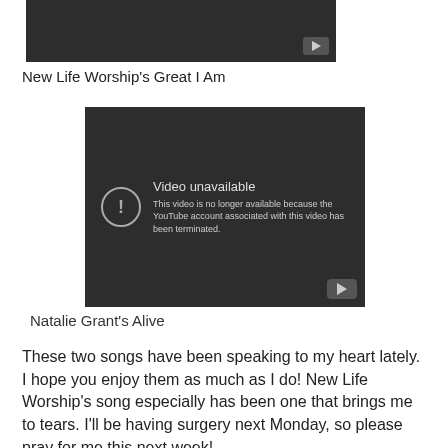[Figure (screenshot): YouTube video embed showing a dark video player with a play button in the top-right corner (partially visible, cropped at top).]
New Life Worship's Great I Am
[Figure (screenshot): YouTube video embed showing 'Video unavailable' error. Text: 'This video is no longer available because the YouTube account associated with this video has been terminated.' with an exclamation mark icon and a YouTube play button in the bottom-right.]
Natalie Grant's Alive
These two songs have been speaking to my heart lately. I hope you enjoy them as much as I do! New Life Worship's song especially has been one that brings me to tears. I'll be having surgery next Monday, so please pray for me this next week!